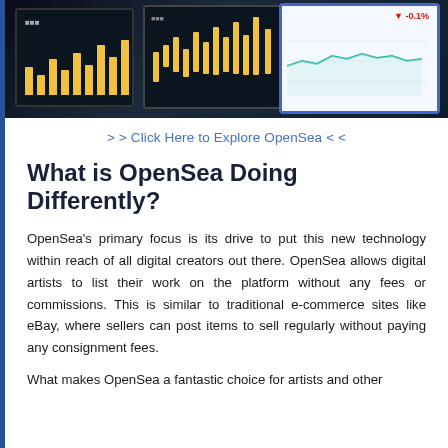[Figure (photo): Photo of financial screens/monitors showing charts and data on dark backgrounds, with a tablet device showing a line chart on the right]
> > Click Here to Explore OpenSea < <
What is OpenSea Doing Differently?
OpenSea's primary focus is its drive to put this new technology within reach of all digital creators out there. OpenSea allows digital artists to list their work on the platform without any fees or commissions. This is similar to traditional e-commerce sites like eBay, where sellers can post items to sell regularly without paying any consignment fees.
What makes OpenSea a fantastic choice for artists and other